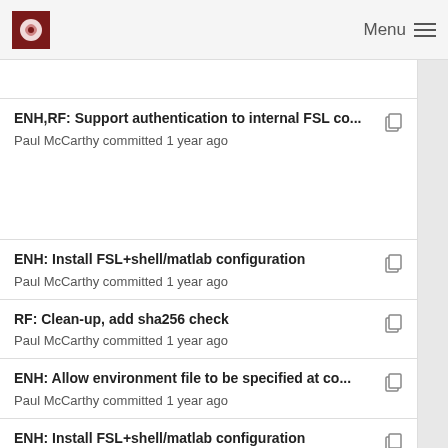Menu
ENH,RF: Support authentication to internal FSL co...
Paul McCarthy committed 1 year ago
ENH: Install FSL+shell/matlab configuration
Paul McCarthy committed 1 year ago
RF: Clean-up, add sha256 check
Paul McCarthy committed 1 year ago
ENH: Allow environment file to be specified at co...
Paul McCarthy committed 1 year ago
ENH: Install FSL+shell/matlab configuration
Paul McCarthy committed 1 year ago